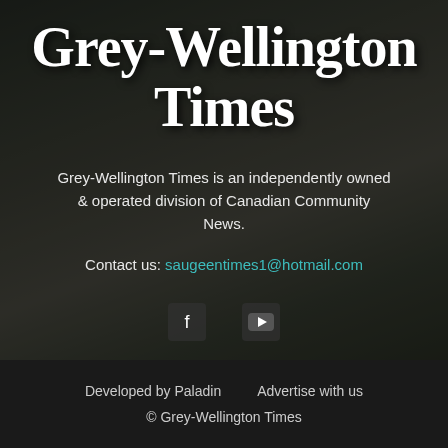[Figure (photo): Dark outdoor background photo showing rocky ground and trees, used as website header background]
Grey-Wellington Times
Grey-Wellington Times is an independently owned & operated division of Canadian Community News.
Contact us: saugeentimes1@hotmail.com
[Figure (other): Social media icons: Facebook and YouTube]
Developed by Paladin    Advertise with us
© Grey-Wellington Times